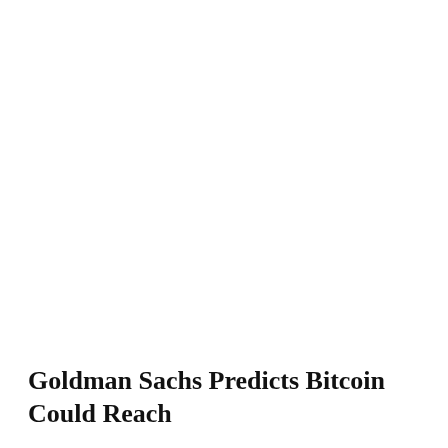Goldman Sachs Predicts Bitcoin Could Reach